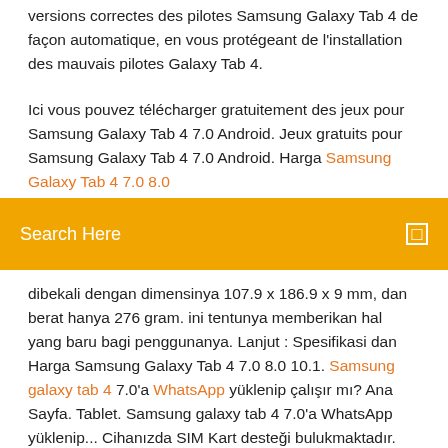versions correctes des pilotes Samsung Galaxy Tab 4 de façon automatique, en vous protégeant de l'installation des mauvais pilotes Galaxy Tab 4.
Ici vous pouvez télécharger gratuitement des jeux pour Samsung Galaxy Tab 4 7.0 Android. Jeux gratuits pour Samsung Galaxy Tab 4 7.0 Android. Harga Samsung Galaxy Tab 4 7.0 8.0
[Figure (screenshot): Orange search bar with text 'Search Here' and a small square icon on the right]
dibekali dengan dimensinya 107.9 x 186.9 x 9 mm, dan berat hanya 276 gram. ini tentunya memberikan hal yang baru bagi penggunanya. Lanjut : Spesifikasi dan Harga Samsung Galaxy Tab 4 7.0 8.0 10.1. Samsung galaxy tab 4 7.0'a WhatsApp yüklenip çalışır mı? Ana Sayfa. Tablet. Samsung galaxy tab 4 7.0'a WhatsApp yüklenip... Cihanızda SIM Kart desteği bulukmaktadır. Bildiğiniz gibi Whatsapp kullanmak için SIM Kart olması lazım. How to get WhatsApp on a Samsung Galaxy Tab 4 - Quora Samsung Galaxy Tab 4 Security and check the option: